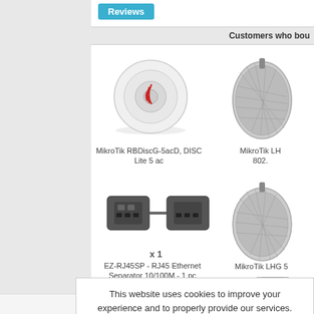Reviews
Customers who bou
[Figure (photo): MikroTik RBDiscG-5acD DISC Lite 5 ac router - white disc shaped device]
MikroTik RBDiscG-5acD, DISC Lite 5 ac
[Figure (photo): MikroTik LHG 802.x device - mesh dish antenna]
MikroTik LH 802.
[Figure (photo): EZ-RJ45SP RJ45 Ethernet Separator 10/100M two black connectors]
x 1
EZ-RJ45SP - RJ45 Ethernet Separator 10/100M - 1 pc
[Figure (photo): MikroTik LHG 5 mesh dish antenna]
MikroTik LHG 5
[Figure (photo): Crimping tool with red and black handles]
[Figure (photo): Small grey device - MikroTik]
ikroT
This website uses cookies to improve your experience and to properly provide our services. Accept
All prices exclude VAT